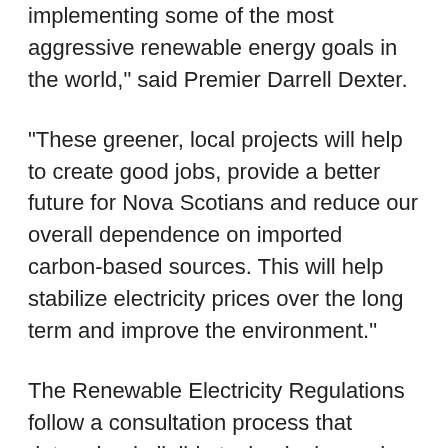implementing some of the most aggressive renewable energy goals in the world," said Premier Darrell Dexter.
"These greener, local projects will help to create good jobs, provide a better future for Nova Scotians and reduce our overall dependence on imported carbon-based sources. This will help stabilize electricity prices over the long term and improve the environment."
The Renewable Electricity Regulations follow a consultation process that determined eligible technologies and who would qualify for a community-based feed-in tariff program, which involves a fixed pricing structure for renewable electricity production.